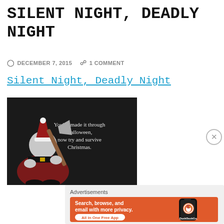SILENT NIGHT, DEADLY NIGHT
DECEMBER 7, 2015   1 COMMENT
Silent Night, Deadly Night
[Figure (photo): Movie poster for Silent Night Deadly Night showing a Santa Claus figure holding an axe, dark background with text: You've made it through Halloween, now try and survive Christmas.]
Advertisements
[Figure (other): DuckDuckGo advertisement banner with orange background. Text: Search, browse, and email with more privacy. All in One Free App. DuckDuckGo logo on right with phone graphic.]